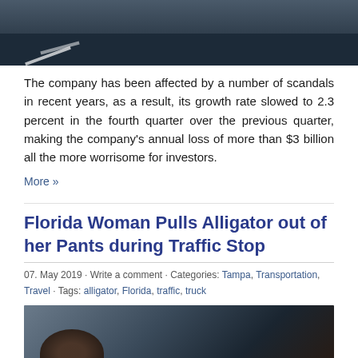[Figure (photo): Top portion of a parking lot or road photo, dark asphalt with white markings visible]
The company has been affected by a number of scandals in recent years, as a result, its growth rate slowed to 2.3 percent in the fourth quarter over the previous quarter, making the company's annual loss of more than $3 billion all the more worrisome for investors.
More »
Florida Woman Pulls Alligator out of her Pants during Traffic Stop
07. May 2019 · Write a comment · Categories: Tampa, Transportation, Travel · Tags: alligator, Florida, traffic, truck
[Figure (photo): Photo of an alligator, dark background with reptile scales visible]